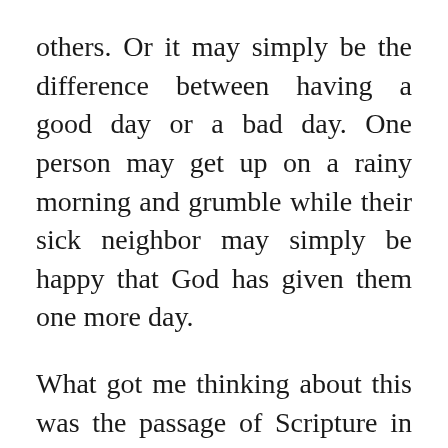others. Or it may simply be the difference between having a good day or a bad day. One person may get up on a rainy morning and grumble while their sick neighbor may simply be happy that God has given them one more day.
What got me thinking about this was the passage of Scripture in Ezra 3:11-13 describing the rebuilding of the temple. Verse twelve says, “But many of the older priests and Levites